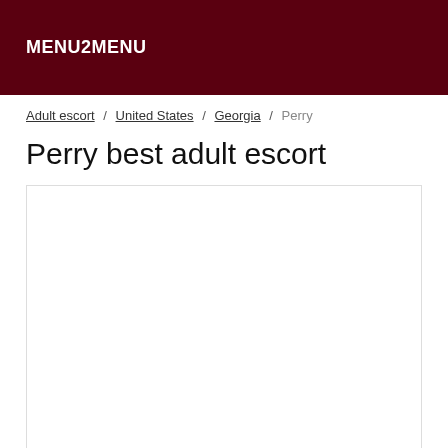MENU2MENU
Adult escort / United States / Georgia / Perry
Perry best adult escort
[Figure (other): Empty white content box with a border, likely a placeholder for listing content]